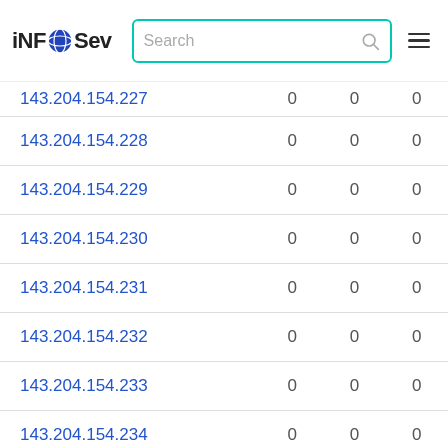iNFOSev Search
| IP | col1 | col2 | col3 |
| --- | --- | --- | --- |
| 143.204.154.227 | 0 | 0 | 0 |
| 143.204.154.228 | 0 | 0 | 0 |
| 143.204.154.229 | 0 | 0 | 0 |
| 143.204.154.230 | 0 | 0 | 0 |
| 143.204.154.231 | 0 | 0 | 0 |
| 143.204.154.232 | 0 | 0 | 0 |
| 143.204.154.233 | 0 | 0 | 0 |
| 143.204.154.234 | 0 | 0 | 0 |
| 143.204.154.235 | 0 | 0 | 0 |
| 143.204.154.236 | 0 | 0 | 0 |